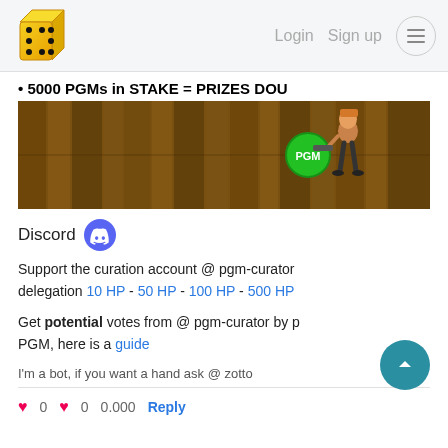Login  Sign up  [menu]
5000 PGMs in STAKE = PRIZES DOU
[Figure (screenshot): Game banner image with a Fortnite-style character holding a weapon, and a green PGM coin/badge overlay]
Discord 🎮
Support the curation account @ pgm-curator delegation 10 HP - 50 HP - 100 HP - 500 HP
Get potential votes from @ pgm-curator by PGM, here is a guide
I'm a bot, if you want a hand ask @ zotto
0  0  0.000  Reply